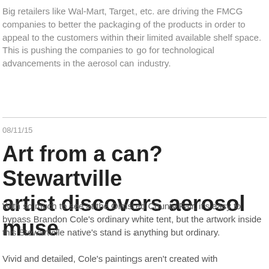Big retailers like Wal-Mart, Target, etc. are driving the FMCG companies to better the packaging of the products in order to appeal to the customers within their limited available shelf space. This is pushing the companies to go for technological advancements in the aerosol can industry.
08/11/15
Art from a can? Stewartville artist discovers aerosol muse
With so much to see at the Olmsted County Fair, it's easy to bypass Brandon Cole's ordinary white tent, but the artwork inside this Stewartville native's stand is anything but ordinary.
Vivid and detailed, Cole's paintings aren't created with